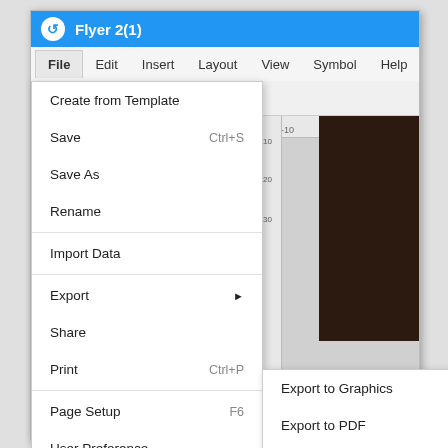[Figure (screenshot): Screenshot of a desktop publishing application (Flyer 2(1)) showing the File menu open with options: Create from Template, Save (Ctrl+S), Save As, Rename, Import Data, Export (with submenu arrow), Share, Print (Ctrl+P), Page Setup (F6), User Preference, Home. The Export submenu is open showing: Export to Graphics, Export to PDF, Export to Word (.docx), Export to PowerPoint (.pptx), Export to Excel (.xlsx), Export to Html, Export to SVG. The menu bar shows File, Edit, Insert, Layout, View, Symbol, Help tabs.]